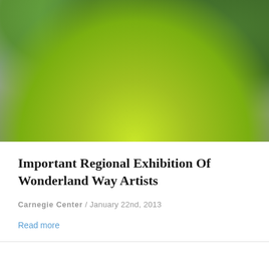[Figure (photo): Painting of a historic mill building with stone walls and wooden water wheel structure, surrounded by lush green trees and a bright green lawn in the foreground, with rocky cliffs and a stream visible in the background.]
Important Regional Exhibition Of Wonderland Way Artists
Carnegie Center / January 22nd, 2013
Read more